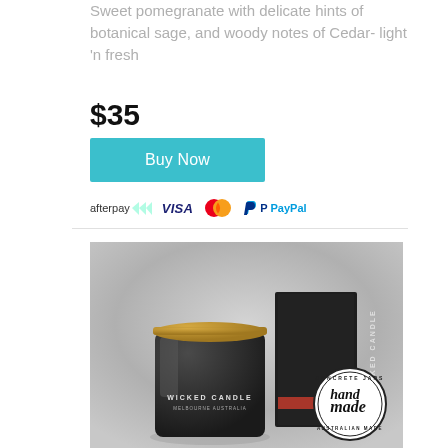Sweet pomegranate with delicate hints of botanical sage, and woody notes of Cedar- light 'n fresh
$35
Buy Now
[Figure (logo): Payment method logos: afterpay, VISA, Mastercard, PayPal]
[Figure (photo): Wicked Candle product photo showing a black concrete jar candle with gold lid and matching black box packaging, with a handmade Australian made stamp badge]